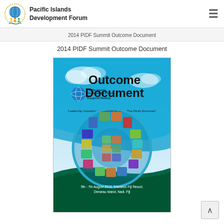Pacific Islands Development Forum
2014 PIDF Summit Outcome Document
[Figure (illustration): Cover page of the 2014 PIDF Summit Outcome Document showing a teal/blue background with 'Outcome Document' in bold black text, the Pacific Islands Development Forum logo and 'Inaugural Meeting' text, a circular collage of Pacific-themed photos, the quote 'Leadership, Innovation & Partnership for Green/Blue Pacific Economies', and event details '5th - 7th August 2013, Sheraton Fiji Resort, Denarau Island, Nadi, Fiji']